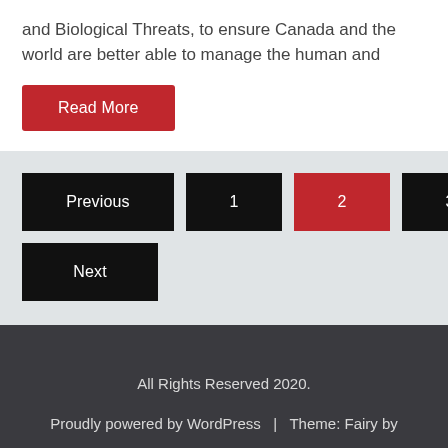and Biological Threats, to ensure Canada and the world are better able to manage the human and
Read More
Previous 1 2 3 ... 10 Next
All Rights Reserved 2020. Proudly powered by WordPress | Theme: Fairy by Candid Themes.